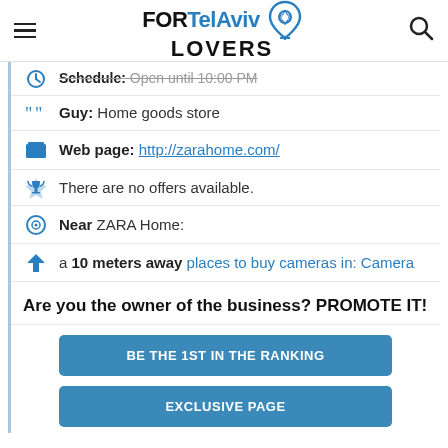FOR Tel Aviv LOVERS [logo with map pin]
Schedule: Open until 10:00 PM
Guy: Home goods store
Web page: http://zarahome.com/
There are no offers available.
Near ZARA Home:
a 10 meters away places to buy cameras in: Camera
Are you the owner of the business? PROMOTE IT!
BE THE 1ST IN THE RANKING
EXCLUSIVE PAGE